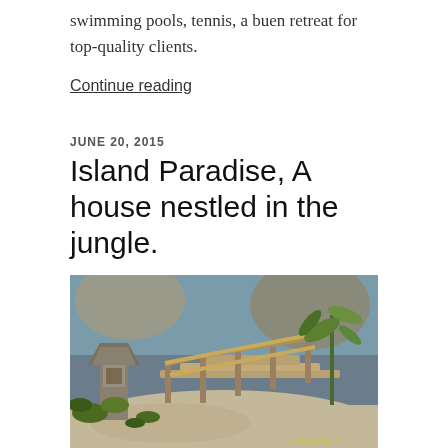swimming pools, tennis, a buen retreat for top-quality clients.
Continue reading
JUNE 20, 2015
Island Paradise, A house nestled in the jungle.
[Figure (photo): A jungle island scene showing a stone lantern structure and wooden dock/bridge with tropical vegetation and water in the background. Watermark reads '© SimpleFun™' in bottom right.]
Part of a game concept for bringing a family of all ages